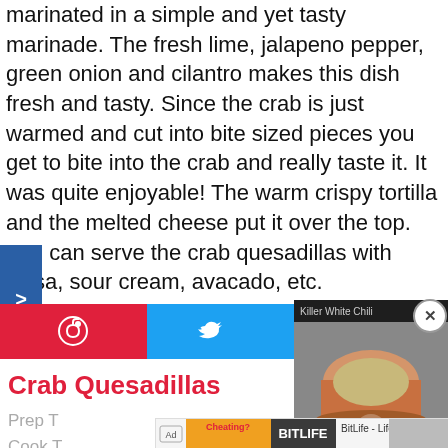marinated in a simple and yet tasty marinade. The fresh lime, jalapeno pepper, green onion and cilantro makes this dish fresh and tasty. Since the crab is just warmed and cut into bite sized pieces you get to bite into the crab and really taste it. It was quite enjoyable! The warm crispy tortilla and the melted cheese put it over the top. You can serve the crab quesadillas with salsa, sour cream, avacado, etc.
[Figure (screenshot): Social sharing buttons (Pinterest and Twitter) and a video overlay showing a bowl of food with a play button and close button]
Crab Quesadillas
Prep T... Cook T...
[Figure (screenshot): Advertisement banner: BitLife - Life Simulator with Install button]